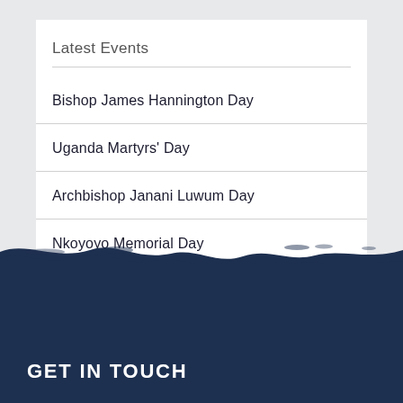Latest Events
Bishop James Hannington Day
Uganda Martyrs' Day
Archbishop Janani Luwum Day
Nkoyoyo Memorial Day
GET IN TOUCH